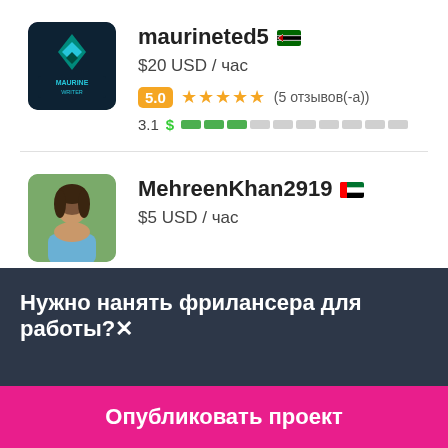[Figure (photo): Maurine logo avatar - dark teal/navy background with stylized leaf/diamond icon and MAURINE WRITER text]
maurineted5 🇰🇪
$20 USD / час
5.0 ★★★★★ (5 отзывов(-а))
3.1 $ ███░░░░░░░
[Figure (photo): MehreenKhan2919 profile photo - young woman outdoors with greenery background]
MehreenKhan2919 🇦🇪
$5 USD / час
Нужно нанять фрилансера для работы?✕
Опубликовать проект